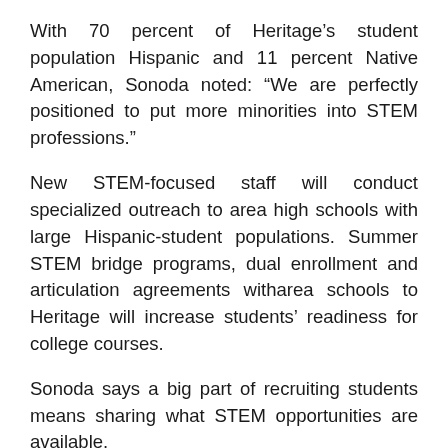With 70 percent of Heritage’s student population Hispanic and 11 percent Native American, Sonoda noted: “We are perfectly positioned to put more minorities into STEM professions.”
New STEM-focused staff will conduct specialized outreach to area high schools with large Hispanic-student populations. Summer STEM bridge programs, dual enrollment and articulation agreements witharea schools to Heritage will increase students’ readiness for college courses.
Sonoda says a big part of recruiting students means sharing what STEM opportunities are available.
“Students in our area see people in medical professions, law enforcement and social work, for example, so they know those are professions they can pursue. They need to know about other